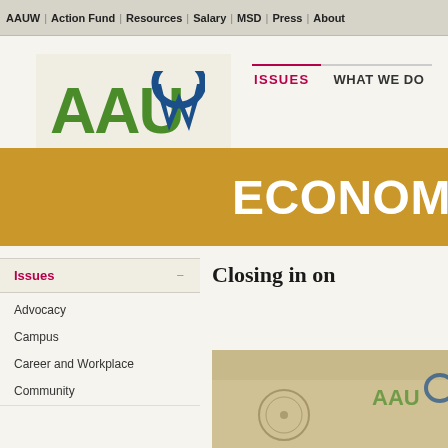AAUW | Action Fund | Resources | Salary | MSD | Press | About
[Figure (logo): AAUW logo with green letters AAU and blue W shape, on cream background, with dark gray bar below reading EMPOWERING WOMEN SINCE 1881]
ISSUES   WHAT WE DO
ECONOMIC S[ECURITY]
Issues −
Advocacy
Campus
Career and Workplace
Community
Closing in on
[Figure (photo): Partial photo showing AAUW logo and event tent/banner on beige background]